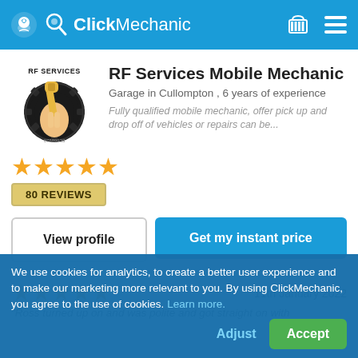ClickMechanic
[Figure (logo): RF Services logo — hand holding wrench with gear background, text RF SERVICES]
RF Services Mobile Mechanic
Garage in Cullompton , 6 years of experience
Fully qualified mobile mechanic, offer pick up and drop off of vehicles or repairs can be...
★★★★★ (5 stars)
80 REVIEWS
View profile
Get my instant price
★★★★★ (5 stars)  11th January 2022
"Ross turned up on and was polite and got straight on with
We use cookies for analytics, to create a better user experience and to make our marketing more relevant to you. By using ClickMechanic, you agree to the use of cookies. Learn more.